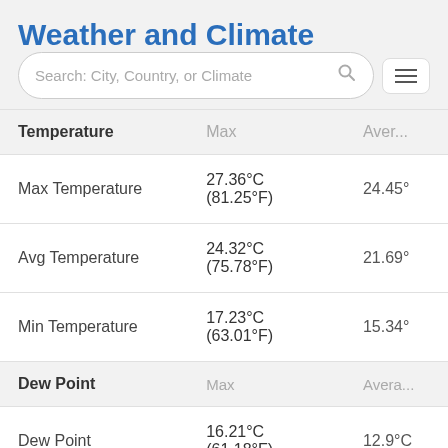Weather and Climate
[Figure (other): Search bar with placeholder text 'Search: City, Country, or Climate' and a hamburger menu icon]
| Temperature | Max | Aver... |
| --- | --- | --- |
| Max Temperature | 27.36°C (81.25°F) | 24.45° |
| Avg Temperature | 24.32°C (75.78°F) | 21.69° |
| Min Temperature | 17.23°C (63.01°F) | 15.34° |
| Dew Point | Max | Avera... |
| --- | --- | --- |
| Dew Point | 16.21°C (61.18°F) | 12.9°C |
| Precipitation | Max | Aver... |
| --- | --- | --- |
| Precipitation | 12.87mm | 0.51in | 3.23m... |